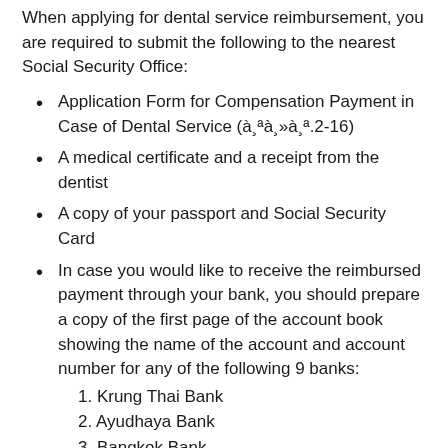When applying for dental service reimbursement, you are required to submit the following to the nearest Social Security Office:
Application Form for Compensation Payment in Case of Dental Service (สปส.2-16)
A medical certificate and a receipt from the dentist
A copy of your passport and Social Security Card
In case you would like to receive the reimbursed payment through your bank, you should prepare a copy of the first page of the account book showing the name of the account and account number for any of the following 9 banks: 1. Krung Thai Bank 2. Ayudhaya Bank 3. Bangkok Bank 4. Kasikorn Bank 5. Siam Commercial Bank
1. Krung Thai Bank
2. Ayudhaya Bank
3. Bangkok Bank
4. Kasikorn Bank